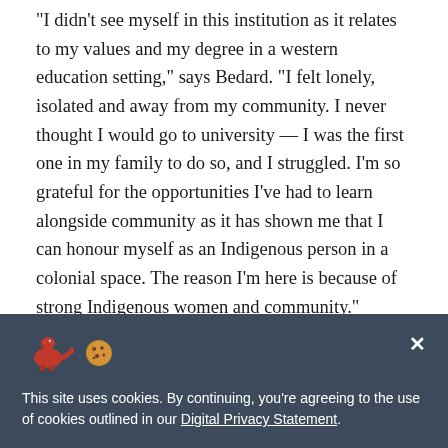“I didn’t see myself in this institution as it relates to my values and my degree in a western education setting,” says Bedard. “I felt lonely, isolated and away from my community. I never thought I would go to university — I was the first one in my family to do so, and I struggled. I’m so grateful for the opportunities I’ve had to learn alongside community as it has shown me that I can honour myself as an Indigenous person in a colonial space. The reason I’m here is because of strong Indigenous women and community.”

Today, Bedard’s journey of mentorship and community has led her back to Calgary, where she leads UCalgary’s new
This site uses cookies. By continuing, you’re agreeing to the use of cookies outlined in our Digital Privacy Statement.